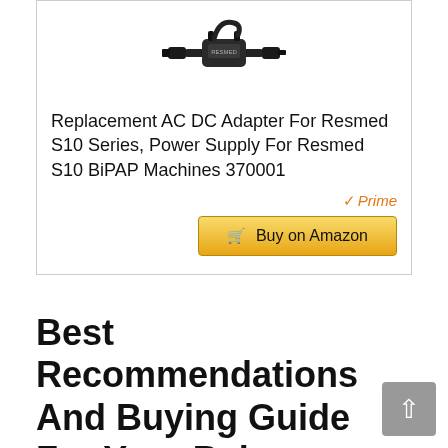[Figure (photo): Product image of a replacement AC DC adapter/power supply with cable and connectors on white background]
Replacement AC DC Adapter For Resmed S10 Series, Power Supply For Resmed S10 BiPAP Machines 370001
[Figure (logo): Amazon Prime badge with checkmark and 'Prime' in orange italic text]
Buy on Amazon
Best Recommendations And Buying Guide For Your Balance Bike Review 2022 For Adults